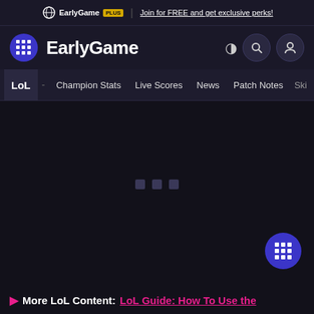EarlyGame PLUS | Join for FREE and get exclusive perks!
EarlyGame
LoL - Champion Stats Live Scores News Patch Notes Skin
[Figure (screenshot): Loading screen with three small grey square dots centered in dark background area]
▶ More LoL Content: LoL Guide: How To Use the